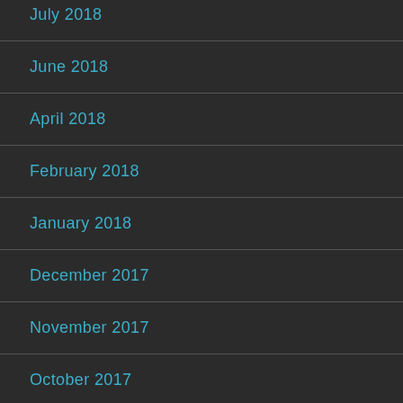July 2018
June 2018
April 2018
February 2018
January 2018
December 2017
November 2017
October 2017
September 2017